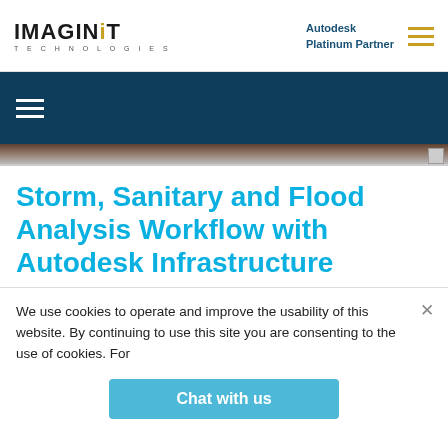IMAGINiT TECHNOLOGIES — Autodesk Platinum Partner
[Figure (screenshot): Dark blue navigation banner with hamburger menu (three white lines) and a partial screenshot strip below showing a brownish/grey interface]
Storm, Sanitary and Flood Analysis Workflow with Autodesk Infrastructure
We use cookies to operate and improve the usability of this website. By continuing to use this site you are consenting to the use of cookies. For
Chat with us